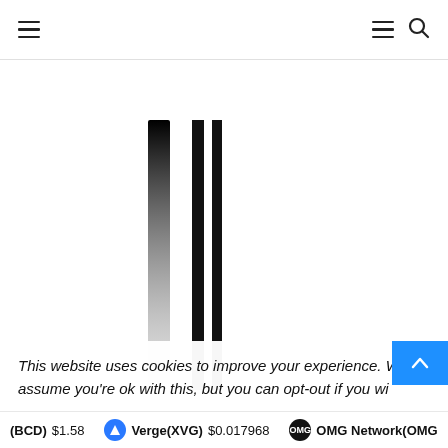Navigation header with hamburger menu icons and search icon
[Figure (illustration): Vertical black gradient lines on white background, three vertical stripes of varying darkness fading from top]
This website uses cookies to improve your experience. We'll assume you're ok with this, but you can opt-out if you wi...
(BCD) $1.58   Verge(XVG) $0.017968   OMG Network(OMG)